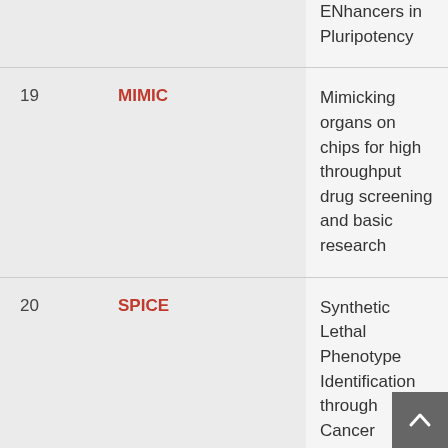| # | Name | Description |
| --- | --- | --- |
|  |  | ENhancers in Pluripotency |
| 19 | MIMIC | Mimicking organs on chips for high throughput drug screening and basic research |
| 20 | SPICE | Synthetic Lethal Phenotype Identification through Cancer Evolution Analysis |
| 21 | UNEXPECTED | Uncovering targets for ex vivo expansion of hematopoietic stem cells to enhance cell therapies of blood disorders |